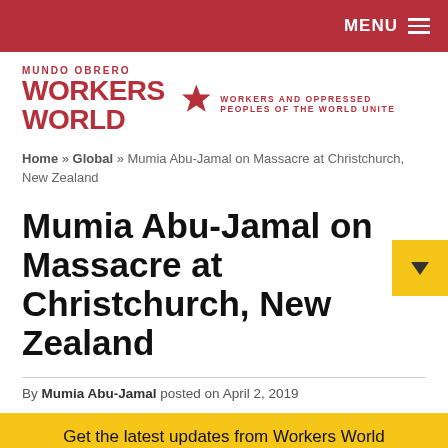MENU
[Figure (logo): Workers World / Mundo Obrero logo with star and tagline 'Workers and Oppressed Peoples of the World Unite']
Home » Global » Mumia Abu-Jamal on Massacre at Christchurch, New Zealand
Mumia Abu-Jamal on Massacre at Christchurch, New Zealand
By Mumia Abu-Jamal posted on April 2, 2019
Get the latest updates from Workers World
Email address
Subscribe